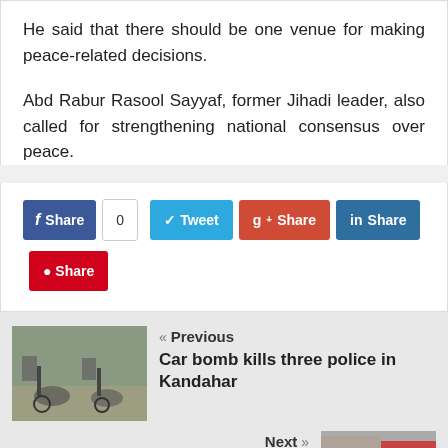He said that there should be one venue for making peace-related decisions.
Abd Rabur Rasool Sayyaf, former Jihadi leader, also called for strengthening national consensus over peace.
[Figure (infographic): Social share buttons: Facebook Share with count 0, Tweet, Google+ Share, LinkedIn Share, Pinterest Share]
[Figure (photo): Previous article thumbnail: people with bicycles in Kandahar]
« Previous
Car bomb kills three police in Kandahar
[Figure (photo): Next article thumbnail: Red Cross vehicle or signage]
Next »
Red Cross says its operations in Afghanistan underfunded